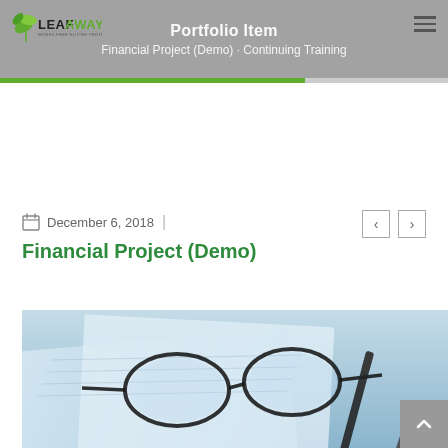[Figure (logo): LeafAway logo — green leaf icon with LEAFAWAY text and tagline 'WORRY-FREE GUTTER PROTECTION SYSTEM']
Portfolio Item — Financial Project (Demo) · Continuing Training
December 6, 2018
Financial Project (Demo)
[Figure (photo): Close-up photo of eyeglasses and a pen resting on financial/spreadsheet documents with a blue tonal color cast]